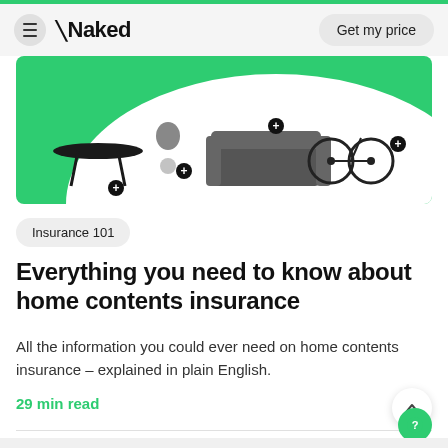Naked — Get my price
[Figure (photo): Hero banner image showing home contents items — coffee table, plant, sofa, bicycle on green and white background with plus icons]
Insurance 101
Everything you need to know about home contents insurance
All the information you could ever need on home contents insurance – explained in plain English.
29 min read